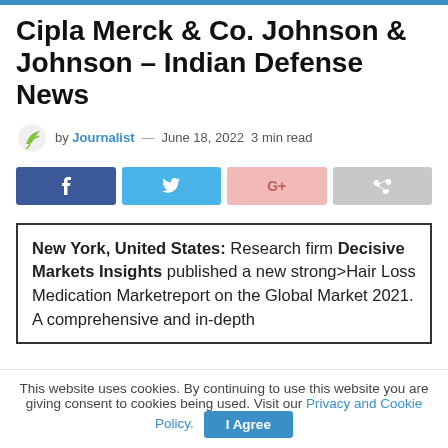Growth Figures, Players Cipla Merck & Co. Johnson & Johnson – Indian Defense News
by Journalist — June 18, 2022  3 min read
New York, United States: Research firm Decisive Markets Insights published a new strong>Hair Loss Medication Marketreport on the Global Market 2021. A comprehensive and in-depth
This website uses cookies. By continuing to use this website you are giving consent to cookies being used. Visit our Privacy and Cookie Policy.